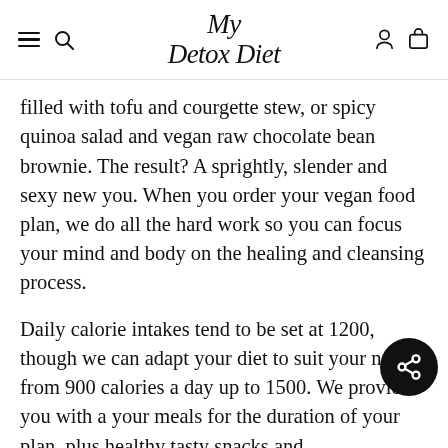My Detox Diet
filled with tofu and courgette stew, or spicy quinoa salad and vegan raw chocolate bean brownie. The result? A sprightly, slender and sexy new you. When you order your vegan food plan, we do all the hard work so you can focus your mind and body on the healing and cleansing process.
Daily calorie intakes tend to be set at 1200, though we can adapt your diet to suit your needs, from 900 calories a day up to 1500. We provide you with all your meals for the duration of your plan, plus healthy tasty snacks and